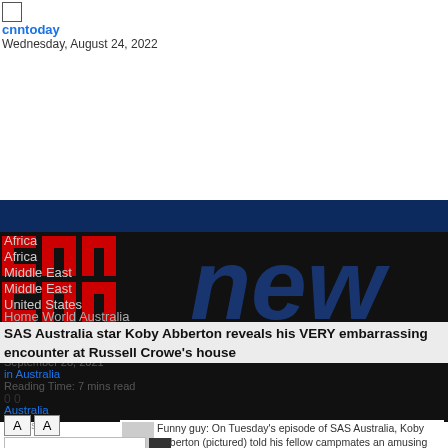[Figure (screenshot): Checkbox UI element in top-left corner]
cnntoday
Wednesday, August 24, 2022
[Figure (logo): Dark blue navigation bar and black bar with CNN-style logo and 'news' text in dark blue, website navigation overlay with menu items: Africa, Africa, Middle East, Middle East, United States, Home World Australia]
Africa
Africa
Middle East
Middle East
United States
Home World Australia
SAS Australia star Koby Abberton reveals his VERY embarrassing encounter at Russell Crowe's house
September 28, 2021
in Australia
Reading Time: 7 mins read
0 0
Australia
A  A
Reset
Funny guy: On Tuesday's episode of SAS Australia, Koby Abberton (pictured) told his fellow campmates an amusing tale from his life in the limelight
Fitness Art